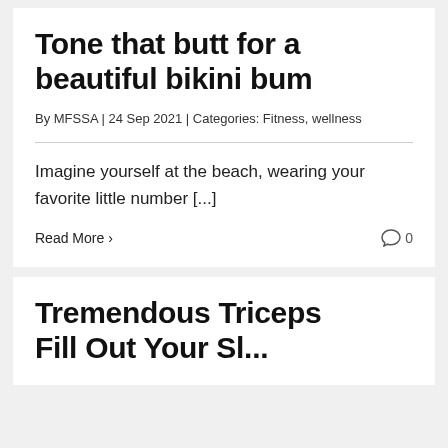Tone that butt for a beautiful bikini bum
By MFSSA | 24 Sep 2021 | Categories: Fitness, wellness
Imagine yourself at the beach, wearing your favorite little number [...]
Read More
Tremendous Triceps Fill Out Your Sl...